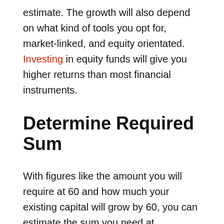estimate. The growth will also depend on what kind of tools you opt for, market-linked, and equity orientated. Investing in equity funds will give you higher returns than most financial instruments.
Determine Required Sum
With figures like the amount you will require at 60 and how much your existing capital will grow by 60, you can estimate the sum you need at retirement.
Estimate the Amount You Need to Save Up
With all the above steps, you know the money you require, so it is time to determine the amount you need to start saving